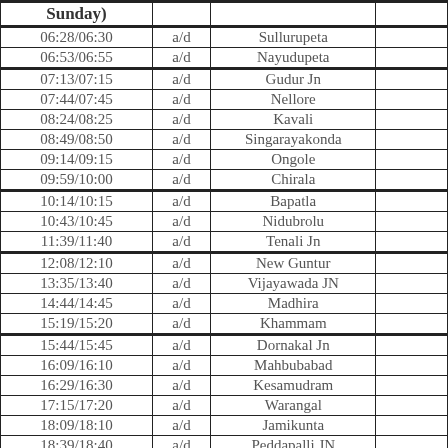| Time | a/d | Station |  |
| --- | --- | --- | --- |
| Sunday) |  |  |  |
| 06:28/06:30 | a/d | Sullurupeta |  |
| 06:53/06:55 | a/d | Nayudupeta |  |
| 07:13/07:15 | a/d | Gudur Jn |  |
| 07:44/07:45 | a/d | Nellore |  |
| 08:24/08:25 | a/d | Kavali |  |
| 08:49/08:50 | a/d | Singarayakonda |  |
| 09:14/09:15 | a/d | Ongole |  |
| 09:59/10:00 | a/d | Chirala |  |
| 10:14/10:15 | a/d | Bapatla |  |
| 10:43/10:45 | a/d | Nidubrolu |  |
| 11:39/11:40 | a/d | Tenali Jn |  |
| 12:08/12:10 | a/d | New Guntur |  |
| 13:35/13:40 | a/d | Vijayawada JN |  |
| 14:44/14:45 | a/d | Madhira |  |
| 15:19/15:20 | a/d | Khammam |  |
| 15:44/15:45 | a/d | Dornakal Jn |  |
| 16:09/16:10 | a/d | Mahbubabad |  |
| 16:29/16:30 | a/d | Kesamudram |  |
| 17:15/17:20 | a/d | Warangal |  |
| 18:09/18:10 | a/d | Jamikunta |  |
| 18:39/18:40 | a/d | Peddapalli JN |  |
|  |  |  |  |